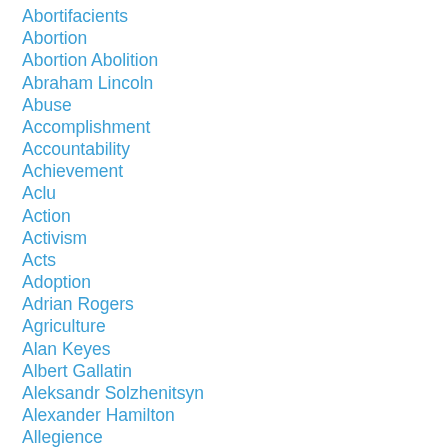Abortifacients
Abortion
Abortion Abolition
Abraham Lincoln
Abuse
Accomplishment
Accountability
Achievement
Aclu
Action
Activism
Acts
Adoption
Adrian Rogers
Agriculture
Alan Keyes
Albert Gallatin
Aleksandr Solzhenitsyn
Alexander Hamilton
Allegience
Almighty